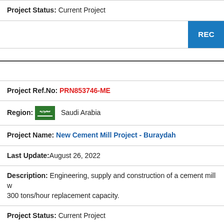Project Status: Current Project
RE[C button - truncated]
Project Ref.No: PRN853746-ME
Region: Saudi Arabia
Project Name: New Cement Mill Project - Buraydah
Last Update: August 26, 2022
Description: Engineering, supply and construction of a cement mill w[ith] 300 tons/hour replacement capacity.
Project Status: Current Project
RE[C button - truncated]